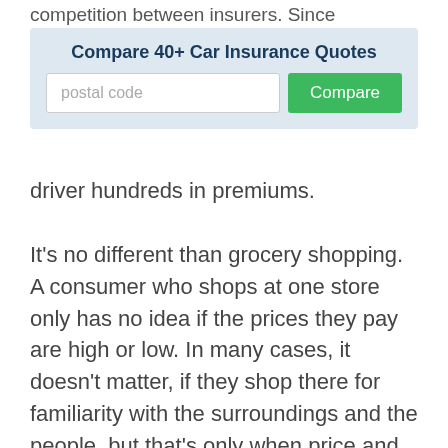competition between insurers. Since
[Figure (screenshot): Car insurance quote comparison widget with title 'Compare 40+ Car Insurance Quotes', a postal code input field, and a green 'Compare' button]
driver hundreds in premiums.

It's no different than grocery shopping. A consumer who shops at one store only has no idea if the prices they pay are high or low. In many cases, it doesn't matter, if they shop there for familiarity with the surroundings and the people, but that's only when price and product selection are not high priorities.